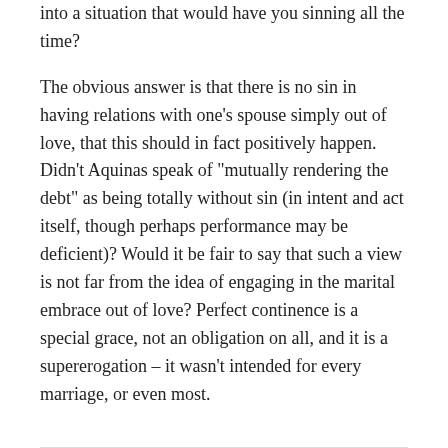into a situation that would have you sinning all the time?
The obvious answer is that there is no sin in having relations with one's spouse simply out of love, that this should in fact positively happen. Didn't Aquinas speak of "mutually rendering the debt" as being totally without sin (in intent and act itself, though perhaps performance may be deficient)? Would it be fair to say that such a view is not far from the idea of engaging in the marital embrace out of love? Perfect continence is a special grace, not an obligation on all, and it is a supererogation – it wasn't intended for every marriage, or even most.
REPLY